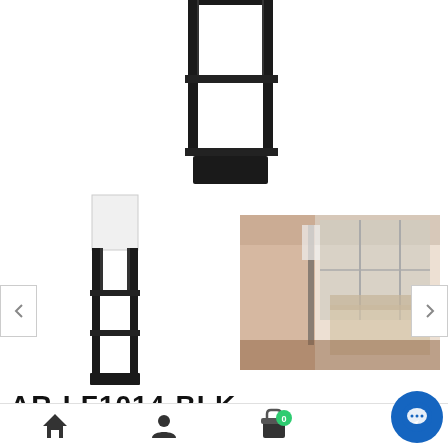[Figure (photo): Top portion of a black floor lamp with shelves product image on white background]
[Figure (photo): Full view of black floor lamp with shelves (etagere lamp) on white background]
[Figure (photo): Living room setting showing the black etagere floor lamp in use with chairs and large windows]
AR-LF1014-BLK
[Figure (screenshot): Bottom navigation bar with home, account, cart (showing 0 items), and chat icons]